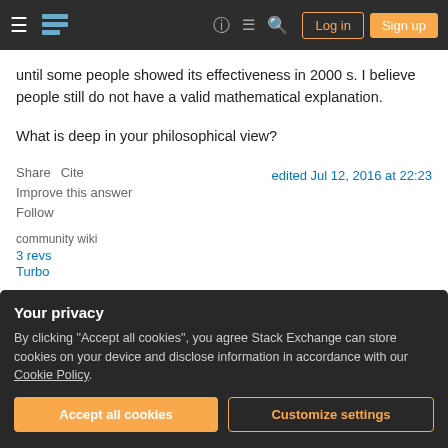Stack Exchange navigation bar with hamburger menu, logo, help, chat, search icons, Log in and Sign up buttons
until some people showed its effectiveness in 2000 s. I believe people still do not have a valid mathematical explanation.
What is deep in your philosophical view?
Share   Cite   edited Jul 12, 2016 at 22:23
Improve this answer
Follow
community wiki
3 revs
Turbo
Your privacy
By clicking "Accept all cookies", you agree Stack Exchange can store cookies on your device and disclose information in accordance with our Cookie Policy.
Accept all cookies   Customize settings
Jul 13, 2016 at 12:21